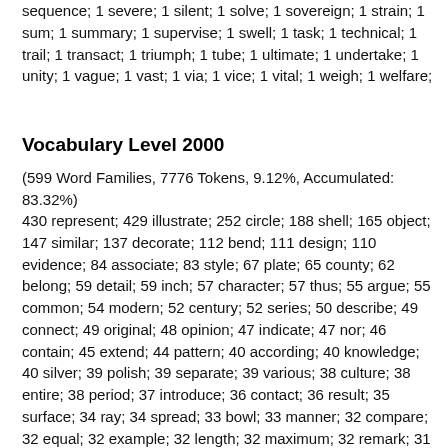sequence; 1 severe; 1 silent; 1 solve; 1 sovereign; 1 strain; 1 sum; 1 summary; 1 supervise; 1 swell; 1 task; 1 technical; 1 trail; 1 transact; 1 triumph; 1 tube; 1 ultimate; 1 undertake; 1 unity; 1 vague; 1 vast; 1 via; 1 vice; 1 vital; 1 weigh; 1 welfare;
Vocabulary Level 2000
(599 Word Families, 7776 Tokens, 9.12%, Accumulated: 83.32%)
430 represent; 429 illustrate; 252 circle; 188 shell; 165 object; 147 similar; 137 decorate; 112 bend; 111 design; 110 evidence; 84 associate; 83 style; 67 plate; 65 county; 62 belong; 59 detail; 59 inch; 57 character; 57 thus; 55 argue; 55 common; 54 modern; 52 century; 52 series; 50 describe; 49 connect; 49 original; 48 opinion; 47 indicate; 47 nor; 46 contain; 45 extend; 44 pattern; 40 according; 40 knowledge; 40 silver; 39 polish; 39 separate; 39 various; 38 culture; 38 entire; 38 period; 37 introduce; 36 contact; 36 result; 35 surface; 34 ray; 34 spread; 33 bowl; 33 manner; 32 compare; 32 equal; 32 example; 32 length; 32 maximum; 32 remark; 31 band; 30 exist; 30 purpose; 29 stamp; 29 western; 28 material; 28 thin; 27 occur; 26 determine; 26 possess; 26 produce; 26 punch; 26 remain; 26 society; 25 direction; 25 recognize; 25 upper; 24 account; 24 combine; 24 pin; 24 valley;